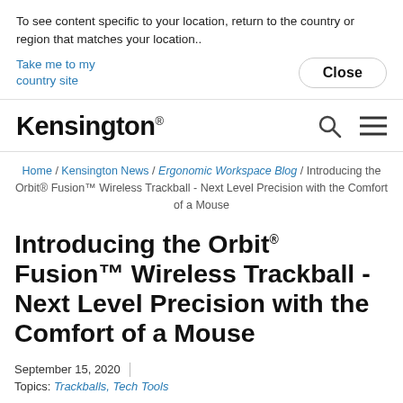To see content specific to your location, return to the country or region that matches your location..
Take me to my country site
Close
[Figure (logo): Kensington logo wordmark with registered trademark symbol]
Home / Kensington News / Ergonomic Workspace Blog / Introducing the Orbit® Fusion™ Wireless Trackball - Next Level Precision with the Comfort of a Mouse
Introducing the Orbit® Fusion™ Wireless Trackball - Next Level Precision with the Comfort of a Mouse
September 15, 2020
Topics: Trackballs, Tech Tools